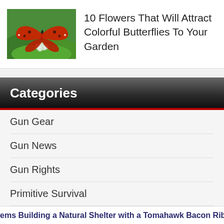[Figure (photo): Red butterfly on white flowers with green foliage background]
10 Flowers That Will Attract Colorful Butterflies To Your Garden
Categories
Gun Gear
Gun News
Gun Rights
Primitive Survival
Survival Basics
Survival Gear
ems Building a Natural Shelter with a Tomahawk Bacon Ribeye Co